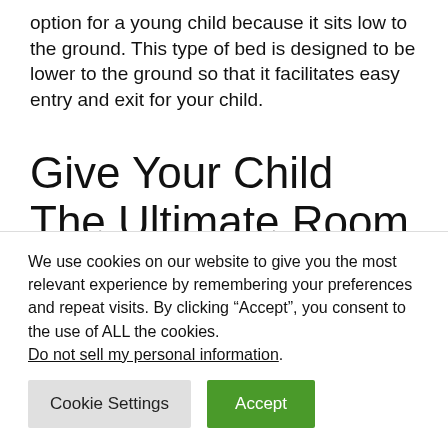option for a young child because it sits low to the ground. This type of bed is designed to be lower to the ground so that it facilitates easy entry and exit for your child.
Give Your Child The Ultimate Room With Our Selection Of Kids' & Toddler Beds
We use cookies on our website to give you the most relevant experience by remembering your preferences and repeat visits. By clicking “Accept”, you consent to the use of ALL the cookies. Do not sell my personal information.